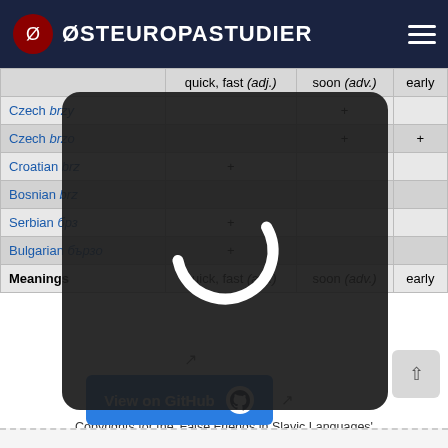ØSTEUROPASTUDIER
|  | quick, fast (adj.) | soon (adv.) | early |
| --- | --- | --- | --- |
| Czech brzy |  | + |  |
| Czech brzo |  | + | + |
| Croatian brz | + |  |  |
| Bosnian brz | + |  |  |
| Serbian брз | + |  |  |
| Bulgarian бързо | + |  |  |
| Meanings | quick, fast (adj.) | soon (adv.) | early |
[Figure (other): Loading spinner overlay — dark rounded rectangle with white circular arc spinner]
Copyrights for the ‘False Friends in Slavic Languages’
View on GitHub